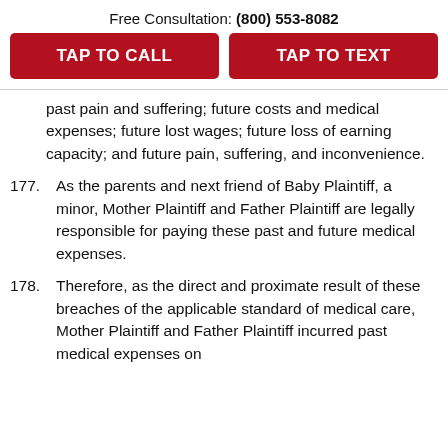Free Consultation: (800) 553-8082
TAP TO CALL   TAP TO TEXT
past pain and suffering; future costs and medical expenses; future lost wages; future loss of earning capacity; and future pain, suffering, and inconvenience.
177. As the parents and next friend of Baby Plaintiff, a minor, Mother Plaintiff and Father Plaintiff are legally responsible for paying these past and future medical expenses.
178. Therefore, as the direct and proximate result of these breaches of the applicable standard of medical care, Mother Plaintiff and Father Plaintiff incurred past medical expenses on